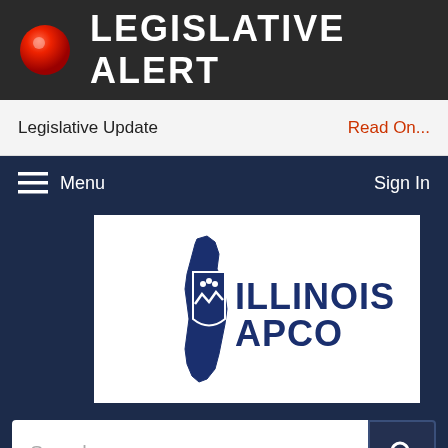LEGISLATIVE ALERT
Legislative Update
Read On...
Menu
Sign In
[Figure (logo): Illinois APCO logo with Illinois state outline in blue and shield emblem with text ILLINOIS APCO]
Search...